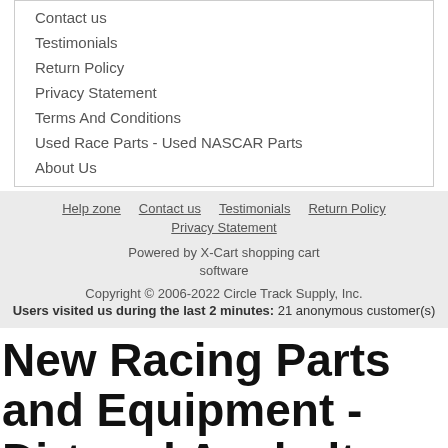Contact us
Testimonials
Return Policy
Privacy Statement
Terms And Conditions
Used Race Parts - Used NASCAR Parts
About Us
Help zone  Contact us  Testimonials  Return Policy  Privacy Statement
Powered by X-Cart shopping cart software
Copyright © 2006-2022 Circle Track Supply, Inc.
Users visited us during the last 2 minutes:  21 anonymous customer(s)
New Racing Parts and Equipment - Dirt and Asphalt Racing